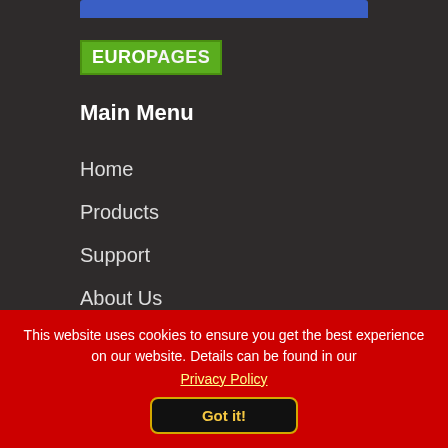[Figure (logo): EUROPAGES logo - green background with white bold text]
Main Menu
Home
Products
Support
About Us
Contact Us
Our Manufacturers
This website uses cookies to ensure you get the best experience on our website. Details can be found in our
Privacy Policy
Got it!